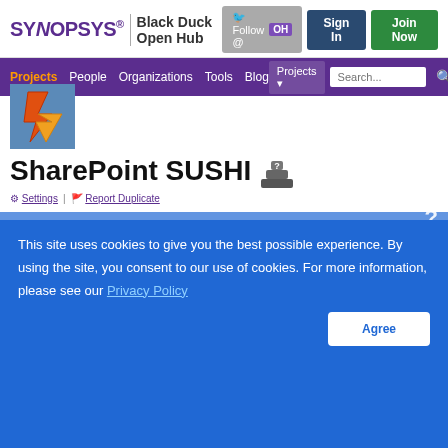SYNOPSYS | Black Duck Open Hub
[Figure (logo): Synopsys Black Duck Open Hub logo with navigation bar including Projects, People, Organizations, Tools, Blog links and Sign In / Join Now buttons]
[Figure (logo): SharePoint SUSHI project icon - orange lightning bolt / arrow on blue background]
SharePoint SUSHI
Settings | Report Duplicate
This site uses cookies to give you the best possible experience. By using the site, you consent to our use of cookies. For more information, please see our Privacy Policy